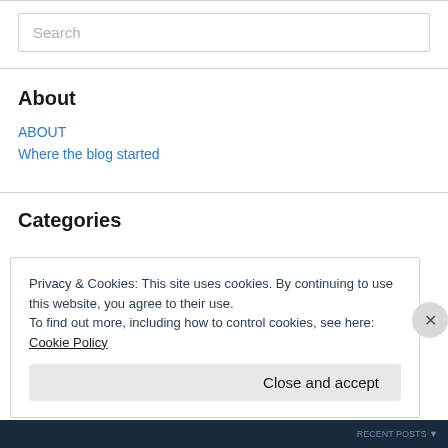Search
About
ABOUT
Where the blog started
Categories
Privacy & Cookies: This site uses cookies. By continuing to use this website, you agree to their use.
To find out more, including how to control cookies, see here: Cookie Policy
Close and accept